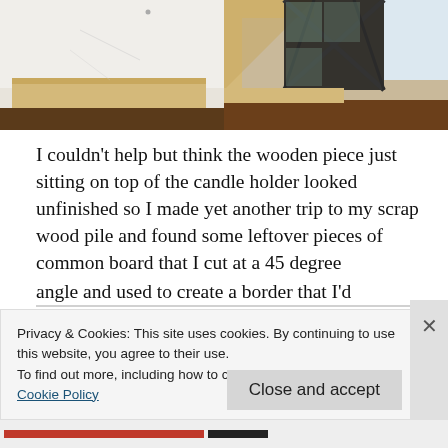[Figure (photo): Two side-by-side photos: left shows a flat wooden board/panel on a dark surface against a white wall; right shows a wooden frame corner detail of a candle holder with a dark lattice lantern structure, indoors near a window.]
I couldn't help but think the wooden piece just sitting on top of the candle holder looked unfinished so I made yet another trip to my scrap wood pile and found some leftover pieces of common board that I cut at a 45 degree angle and used to create a border that I'd
Privacy & Cookies: This site uses cookies. By continuing to use this website, you agree to their use.
To find out more, including how to control cookies, see here:
Cookie Policy
Close and accept